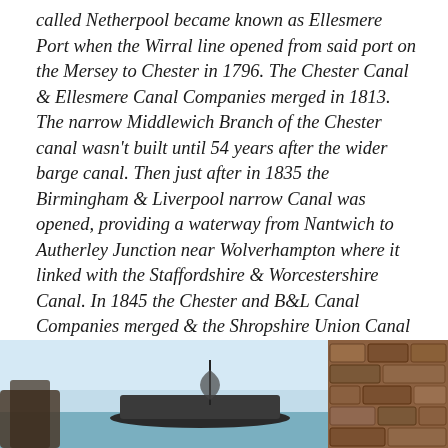called Netherpool became known as Ellesmere Port when the Wirral line opened from said port on the Mersey to Chester in 1796. The Chester Canal & Ellesmere Canal Companies merged in 1813. The narrow Middlewich Branch of the Chester canal wasn't built until 54 years after the wider barge canal. Then just after in 1835 the Birmingham & Liverpool narrow Canal was opened, providing a waterway from Nantwich to Autherley Junction near Wolverhampton where it linked with the Staffordshire & Worcestershire Canal. In 1845 the Chester and B&L Canal Companies merged & the Shropshire Union Canal was 'born'. Buoy, wasn't that confusing. It's actually moor complicated than this but hopefully you can almost stay with the basic storyline.
[Figure (photo): Partial view of a boat on a canal or waterway with a light blue sky background (left portion), and a close-up of stone or brick texture (right portion)]